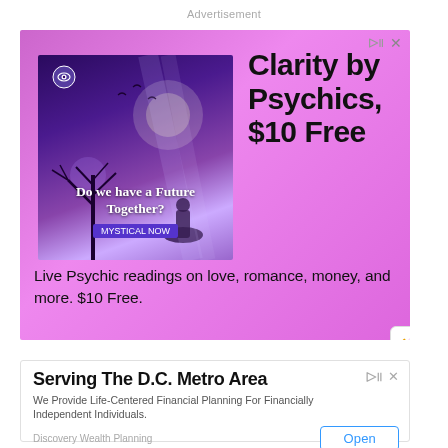Advertisement
[Figure (infographic): Pink advertisement banner for psychic reading service. Shows a mystical purple image with text 'Do we have a Future Together?' on the left, and 'Clarity by Psychics, $10 Free' in large bold text on the right. Bottom text reads: 'Live Psychic readings on love, romance, money, and more. $10 Free.']
[Figure (infographic): White advertisement banner for Discovery Wealth Planning. Title: 'Serving The D.C. Metro Area'. Body: 'We Provide Life-Centered Financial Planning For Financially Independent Individuals.' Source: 'Discovery Wealth Planning'. Button: 'Open']